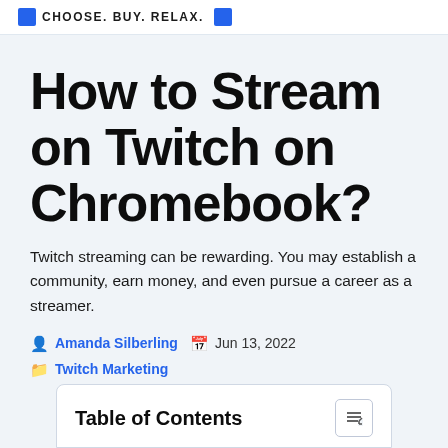CHOOSE. BUY. RELAX.
How to Stream on Twitch on Chromebook?
Twitch streaming can be rewarding. You may establish a community, earn money, and even pursue a career as a streamer.
By Amanda Silberling  Jun 13, 2022  Twitch Marketing
Table of Contents